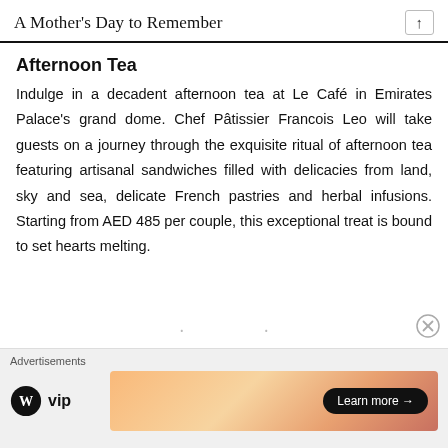A Mother's Day to Remember
Afternoon Tea
Indulge in a decadent afternoon tea at Le Café in Emirates Palace's grand dome. Chef Pâtissier Francois Leo will take guests on a journey through the exquisite ritual of afternoon tea featuring artisanal sandwiches filled with delicacies from land, sky and sea, delicate French pastries and herbal infusions. Starting from AED 485 per couple, this exceptional treat is bound to set hearts melting.
Advertisements
[Figure (logo): WordPress VIP logo with circle W icon and 'vip' text]
[Figure (infographic): Orange/salmon gradient advertisement banner with 'Learn more →' button]